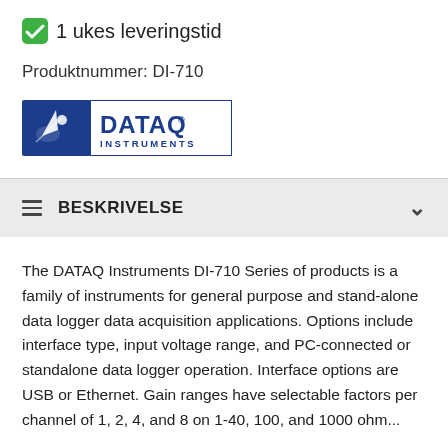1 ukes leveringstid
Produktnummer: DI-710
[Figure (logo): DATAQ Instruments company logo — blue square with star graphic on left, DATAQ in bold blue uppercase with registered mark, INSTRUMENTS in smaller blue uppercase below]
BESKRIVELSE
The DATAQ Instruments DI-710 Series of products is a family of instruments for general purpose and stand-alone data logger data acquisition applications. Options include interface type, input voltage range, and PC-connected or standalone data logger operation. Interface options are USB or Ethernet. Gain ranges have selectable factors per channel of 1, 2, 4, and 8 on 1-40, 100, and 1000 ohm...